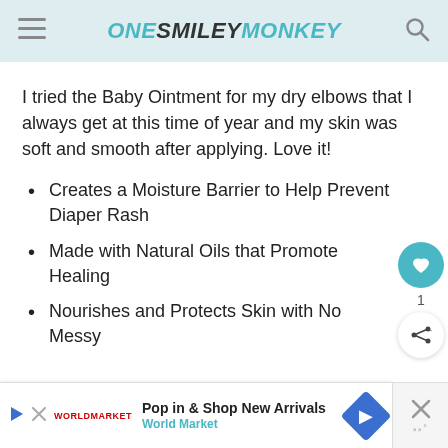ONE SMILEY MONKEY
I tried the Baby Ointment for my dry elbows that I always get at this time of year and my skin was soft and smooth after applying. Love it!
Creates a Moisture Barrier to Help Prevent Diaper Rash
Made with Natural Oils that Promote Healing
Nourishes and Protects Skin with No Messy